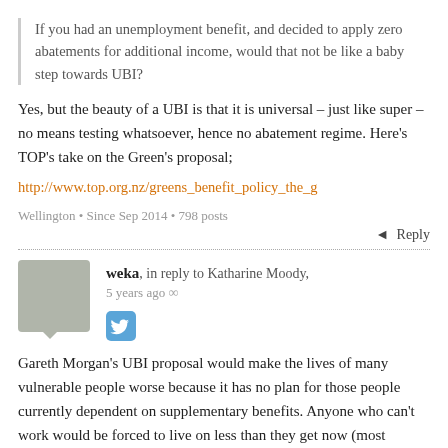If you had an unemployment benefit, and decided to apply zero abatements for additional income, would that not be like a baby step towards UBI?
Yes, but the beauty of a UBI is that it is universal – just like super – no means testing whatsoever, hence no abatement regime. Here's TOP's take on the Green's proposal;
http://www.top.org.nz/greens_benefit_policy_the_g
Wellington • Since Sep 2014 • 798 posts
Reply
weka, in reply to Katharine Moody, 5 years ago
Gareth Morgan's UBI proposal would make the lives of many vulnerable people worse because it has no plan for those people currently dependent on supplementary benefits. Anyone who can't work would be forced to live on less than they get now (most beneficiaries are dependent on